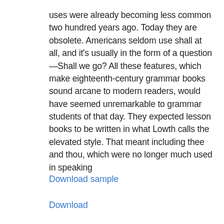uses were already becoming less common two hundred years ago. Today they are obsolete. Americans seldom use shall at all, and it's usually in the form of a question—Shall we go? All these features, which make eighteenth-century grammar books sound arcane to modern readers, would have seemed unremarkable to grammar students of that day. They expected lesson books to be written in what Lowth calls the elevated style. That meant including thee and thou, which were no longer much used in speaking
Download sample
Download